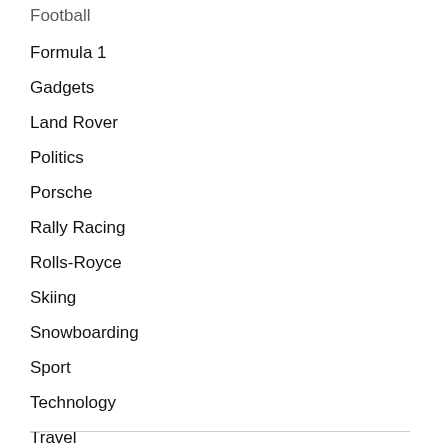Formula 1
Gadgets
Land Rover
Politics
Porsche
Rally Racing
Rolls-Royce
Skiing
Snowboarding
Sport
Technology
Travel
Uncategorized
Video
Winter Sports
World